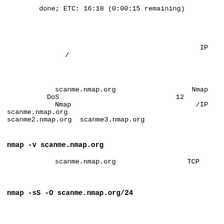done; ETC: 16:18 (0:00:15 remaining)
IP /
scanme.nmap.org Nmap DoS 12 Nmap /IP scanme.nmap.org scanme2.nmap.org scanme3.nmap.org
nmap -v scanme.nmap.org
scanme.nmap.org TCP -v
nmap -sS -O scanme.nmap.org/24